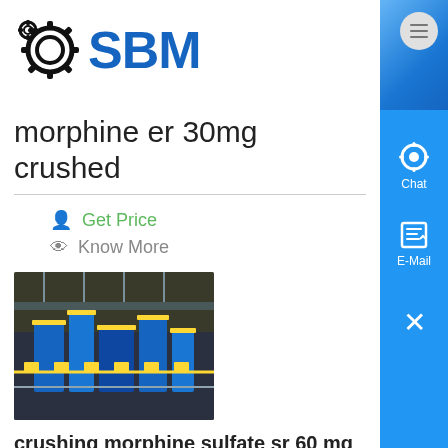[Figure (logo): SBM logo with gear icons on the left and blue bold SBM text]
morphine er 30mg crushed
Get Price
Know More
[Figure (photo): Industrial factory floor with blue machinery and yellow equipment]
crushing morphine sulfate sr 60 mg
How Strong Is A 60mg Morphine - Topics - MedsChat ER pills are not to be crushed Crushing